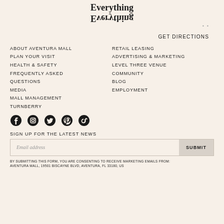[Figure (logo): Everything Everything logo with mirrored/flipped text stacked]
GET DIRECTIONS
ABOUT AVENTURA MALL
PLAN YOUR VISIT
HEALTH & SAFETY
FREQUENTLY ASKED QUESTIONS
MEDIA
MALL MANAGEMENT TURNBERRY
RETAIL LEASING
ADVERTISING & MARKETING
LEVEL THREE VENUE
COMMUNITY
BLOG
EMPLOYMENT
[Figure (illustration): Social media icons: Facebook, Instagram, Twitter, Pinterest, TikTok]
SIGN UP FOR THE LATEST NEWS
Email address
SUBMIT
BY SUBMITTING THIS FORM, YOU ARE CONSENTING TO RECEIVE MARKETING EMAILS FROM: AVENTURA MALL, 19501 BISCAYNE BLVD, AVENTURA, FL 33180, US